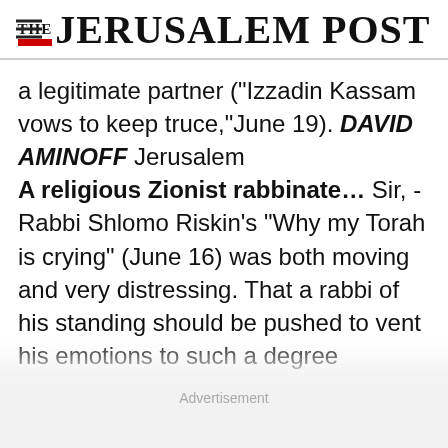THE JERUSALEM POST
a legitimate partner ("Izzadin Kassam vows to keep truce,"June 19). DAVID AMINOFF Jerusalem
A religious Zionist rabbinate... Sir, - Rabbi Shlomo Riskin's "Why my Torah is crying" (June 16) was both moving and very distressing. That a rabbi of his standing should be pushed to vent his emotions to such a degree regarding the current conversion crisis is extremely sad. A gang of inhumane rabbis, left to their own devices, will
Advertisement